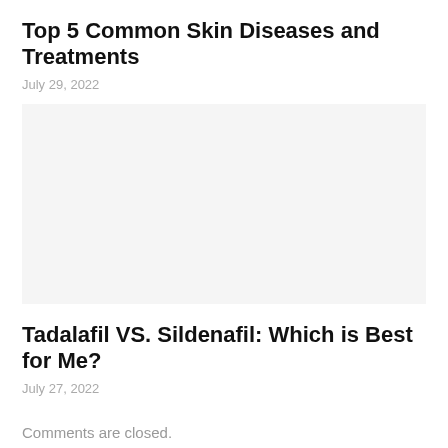Top 5 Common Skin Diseases and Treatments
July 29, 2022
[Figure (photo): Image placeholder for skin diseases article]
Tadalafil VS. Sildenafil: Which is Best for Me?
July 27, 2022
Comments are closed.